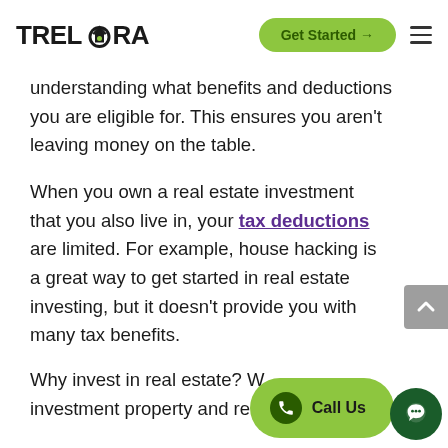TRELORA | Get Started → | ☰
understanding what benefits and deductions you are eligible for. This ensures you aren't leaving money on the table.
When you own a real estate investment that you also live in, your tax deductions are limited. For example, house hacking is a great way to get started in real estate investing, but it doesn't provide you with many tax benefits.
Why invest in real estate? W... investment property and rent ... you are